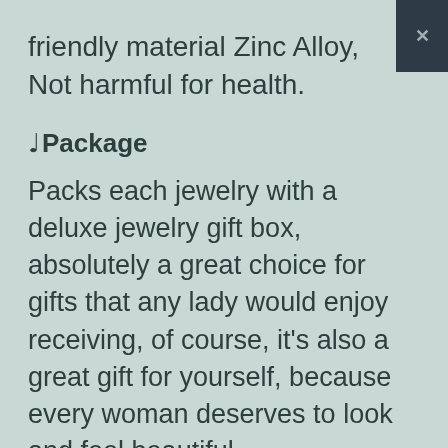friendly material Zinc Alloy, Not harmful for health.
♩Package
Packs each jewelry with a deluxe jewelry gift box, absolutely a great choice for gifts that any lady would enjoy receiving, of course, it's also a great gift for yourself, because every woman deserves to look and feel beautiful.
♩After-sales Service